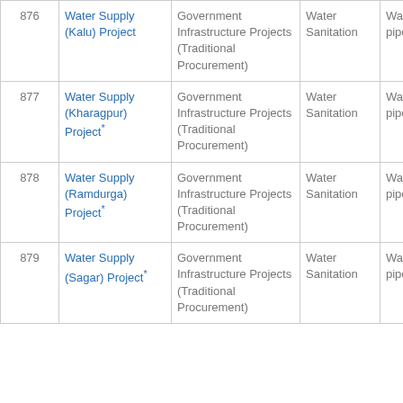|  | Name | Category | Sector | Type |
| --- | --- | --- | --- | --- |
| 876 | Water Supply (Kalu) Project | Government Infrastructure Projects (Traditional Procurement) | Water Sanitation | Water sup pipeline |
| 877 | Water Supply (Kharagpur) Project* | Government Infrastructure Projects (Traditional Procurement) | Water Sanitation | Water sup pipeline |
| 878 | Water Supply (Ramdurga) Project* | Government Infrastructure Projects (Traditional Procurement) | Water Sanitation | Water sup pipeline |
| 879 | Water Supply (Sagar) Project* | Government Infrastructure Projects (Traditional Procurement) | Water Sanitation | Water sup pipeline |